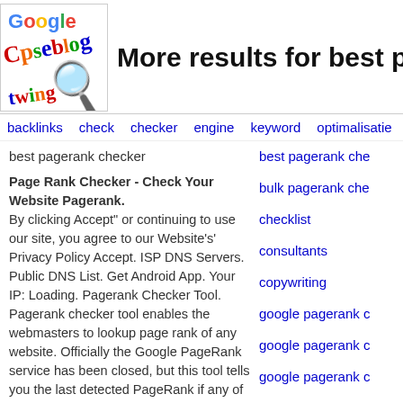[Figure (logo): Google/CPSEblog logo with magnifying glass]
More results for best pagerank c
backlinks  check  checker  engine  keyword  optimalisatie  optimizat
best pagerank checker
best pagerank che
Page Rank Checker - Check Your Website Pagerank.
By clicking Accept" or continuing to use our site, you agree to our Website's' Privacy Policy Accept. ISP DNS Servers. Public DNS List. Get Android App. Your IP: Loading. Pagerank Checker Tool. Pagerank checker tool enables the webmasters to lookup page rank of any website. Officially the Google PageRank service has been closed, but this tool tells you the last detected PageRank if any of a given website. Enter any valid URL to check Page Rank. Enter Domain to Check Page Rank.: Check Page Rank. SPF Record Checker MX Lookup Ping IPv4 Address IP Blacklist Checker HTTP Headers Check Check Website Operating System TCP UDP Port Checker MAC Address Lookup Website Link Analyzer DMARC Validation Tool Domain DNS Health Checker IPv6 Compatibility Checker SMTP Test Broken Links Checker. Show More All Tools. About Pagerank Checker. Pagerank is a measurement tool for checking the competitiveness of a website analyzed by Google.
bulk pagerank che
checklist
consultants
copywriting
google pagerank c
google pagerank c
google pagerank c
multiple pagerank c